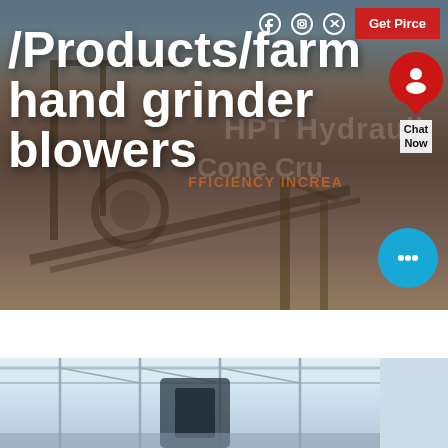[Figure (photo): Industrial mining/crushing equipment facility photo used as hero background with overlaid navigation elements, social media icons, a red 'Get Pirce' button, a chat widget, and large white bold text.]
/Products/farm hand grinder blowers
Get Pirce
Chat Now
[Figure (photo): Bottom portion of page showing interior of industrial/agricultural building with roof trusses and equipment, partially visible.]